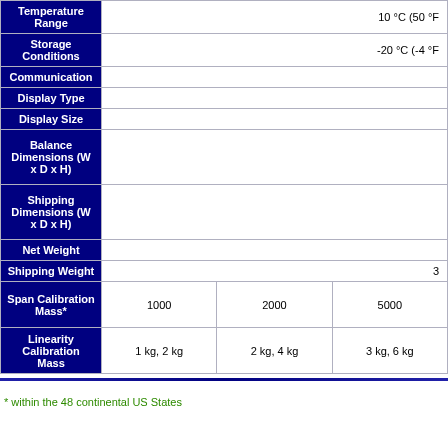| Parameter | Value / Column 1 | Column 2 | Column 3 |
| --- | --- | --- | --- |
| Temperature Range | 10 °C (50 °F |  |  |
| Storage Conditions | -20 °C (-4 °F |  |  |
| Communication |  |  |  |
| Display Type |  |  |  |
| Display Size |  |  |  |
| Balance Dimensions (W x D x H) |  |  |  |
| Shipping Dimensions (W x D x H) |  |  |  |
| Net Weight |  |  |  |
| Shipping Weight | 3 |  |  |
| Span Calibration Mass* | 1000 | 2000 | 5000 |
| Linearity Calibration Mass | 1 kg, 2 kg | 2 kg, 4 kg | 3 kg, 6 kg |
* within the 48 continental US States